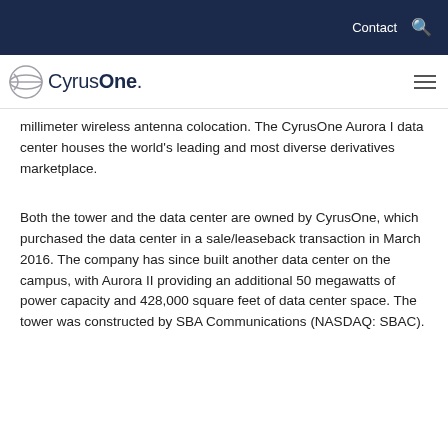Contact
[Figure (logo): CyrusOne logo with globe/orbit icon and company name in navy blue]
millimeter wireless antenna colocation.  The CyrusOne Aurora I data center houses the world's leading and most diverse derivatives marketplace.
Both the tower and the data center are owned by CyrusOne, which purchased the data center in a sale/leaseback transaction in March 2016.  The company has since built another data center on the campus, with Aurora II providing an additional 50 megawatts of power capacity and 428,000 square feet of data center space.  The tower was constructed by SBA Communications (NASDAQ: SBAC).